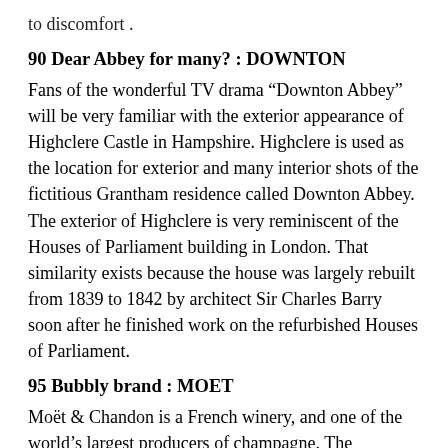to discomfort .
90 Dear Abbey for many? : DOWNTON
Fans of the wonderful TV drama “Downton Abbey” will be very familiar with the exterior appearance of Highclere Castle in Hampshire. Highclere is used as the location for exterior and many interior shots of the fictitious Grantham residence called Downton Abbey. The exterior of Highclere is very reminiscent of the Houses of Parliament building in London. That similarity exists because the house was largely rebuilt from 1839 to 1842 by architect Sir Charles Barry soon after he finished work on the refurbished Houses of Parliament.
95 Bubbly brand : MOET
Moët & Chandon is a French winery, and one of the world’s largest producers of champagne. The company was founded by wine trader Claude Moët in 1743. The name was changed to Moët & Chandon in the 1830s when Pierre-Gabriel Chandon, an in-law to the Moët family, was given co-ownership. Moët & Chandon owns the famous